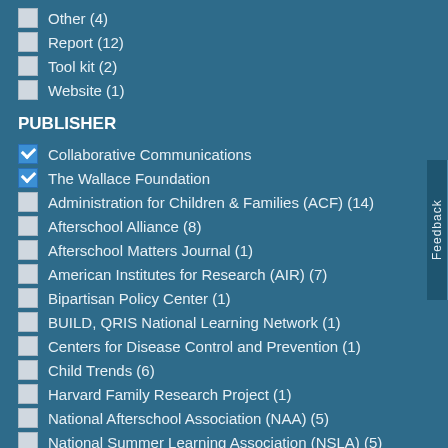Other (4)
Report (12)
Tool kit (2)
Website (1)
PUBLISHER
Collaborative Communications
The Wallace Foundation
Administration for Children & Families (ACF) (14)
Afterschool Alliance (8)
Afterschool Matters Journal (1)
American Institutes for Research (AIR) (7)
Bipartisan Policy Center (1)
BUILD, QRIS National Learning Network (1)
Centers for Disease Control and Prevention (1)
Child Trends (6)
Harvard Family Research Project (1)
National Afterschool Association (NAA) (5)
National Summer Learning Association (NSLA) (5)